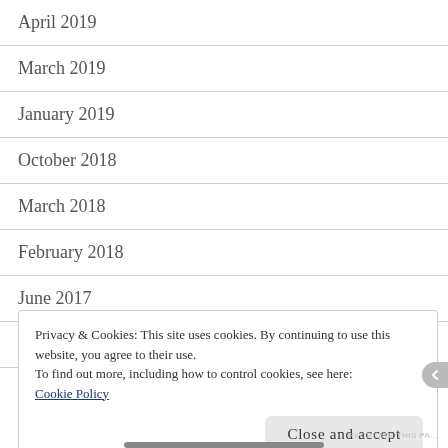April 2019
March 2019
January 2019
October 2018
March 2018
February 2018
June 2017
May 2017
Privacy & Cookies: This site uses cookies. By continuing to use this website, you agree to their use.
To find out more, including how to control cookies, see here: Cookie Policy
Close and accept